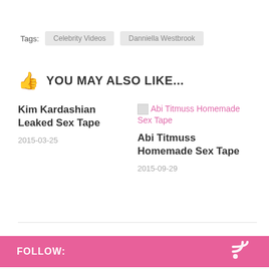Tags: Celebrity Videos  Danniella Westbrook
YOU MAY ALSO LIKE...
Kim Kardashian Leaked Sex Tape
2015-03-25
[Figure (other): Broken image placeholder for Abi Titmuss Homemade Sex Tape]
Abi Titmuss Homemade Sex Tape
2015-09-29
FOLLOW:
SEARCH